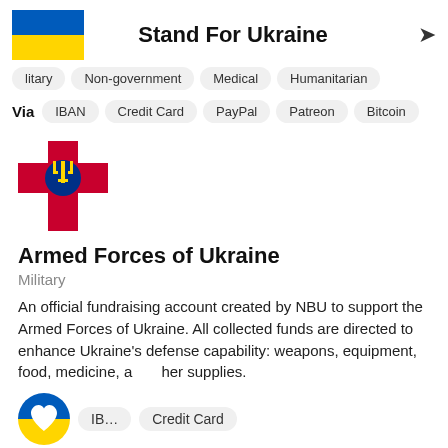Stand For Ukraine
Military | Non-government | Medical | Humanitarian
Via IBAN | Credit Card | PayPal | Patreon | Bitcoin
[Figure (logo): Armed Forces of Ukraine emblem - crimson cross with blue circle and trident in center]
Armed Forces of Ukraine
Military
An official fundraising account created by NBU to support the Armed Forces of Ukraine. All collected funds are directed to enhance Ukraine's defense capability: weapons, equipment, food, medicine, and other supplies.
[Figure (logo): Stand For Ukraine heart logo with Ukrainian flag colors (blue and yellow)]
IBAN | Credit Card